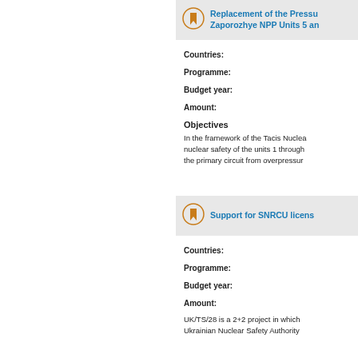Replacement of the Pressu... Zaporozhye NPP Units 5 an...
Countries:
Programme:
Budget year:
Amount:
Objectives
In the framework of the Tacis Nuclea... nuclear safety of the units 1 through... the primary circuit from overpressur...
Support for SNRCU licens...
Countries:
Programme:
Budget year:
Amount:
UK/TS/28 is a 2+2 project in which... Ukrainian Nuclear Safety Authority...